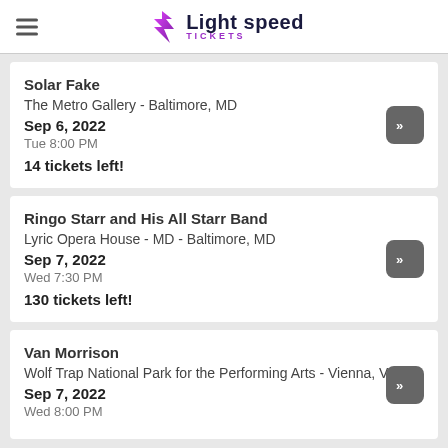Light speed TICKETS
Solar Fake | The Metro Gallery - Baltimore, MD | Sep 6, 2022 | Tue 8:00 PM | 14 tickets left!
Ringo Starr and His All Starr Band | Lyric Opera House - MD - Baltimore, MD | Sep 7, 2022 | Wed 7:30 PM | 130 tickets left!
Van Morrison | Wolf Trap National Park for the Performing Arts - Vienna, VA | Sep 7, 2022 | Wed 8:00 PM